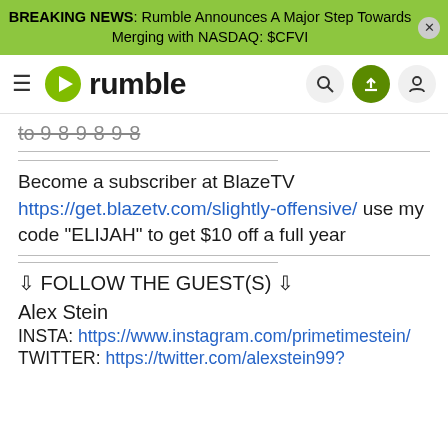BREAKING NEWS: Rumble Announces A Major Step Towards Merging with NASDAQ: $CFVI
[Figure (logo): Rumble logo with hamburger menu and navigation icons (search, upload, user)]
to 9-8-9-8-9-8
Become a subscriber at BlazeTV https://get.blazetv.com/slightly-offensive/ use my code "ELIJAH" to get $10 off a full year
⇩ FOLLOW THE GUEST(S) ⇩
Alex Stein
INSTA: https://www.instagram.com/primetimestein/
TWITTER: https://twitter.com/alexstein99?